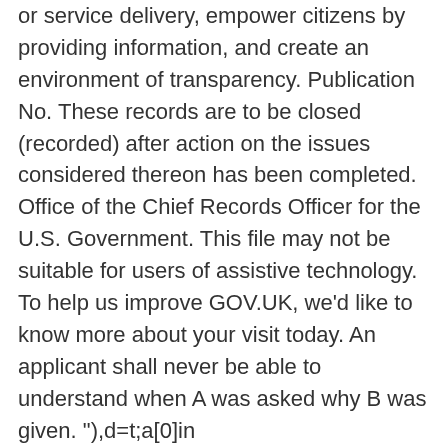or service delivery, empower citizens by providing information, and create an environment of transparency. Publication No. These records are to be closed (recorded) after action on the issues considered thereon has been completed. Office of the Chief Records Officer for the U.S. Government. This file may not be suitable for users of assistive technology. To help us improve GOV.UK, we'd like to know more about your visit today. An applicant shall never be able to understand when A was asked why B was given. "),d=t;a[0]in d||!d.execScript||d.execScript("var "+a[0]);for(var e;a.length&&(e=a.shift());)a.length||void 0===c?d[e]?d=d[e]:d=d[e]={};d[e]=c};function v(b){var c=b.length;if(0 b||1342177279>>=1)c+=c;return a};q!=p&&null!=q&&g(h,n,{configurable:!0,writable:!0,value:q});var t=this;function u(b,c){var a=b.split(". For information on how to retrieve records from the Records Centre, see Procedure GRO 3: Records Retrieval (PDF). Retention schedules serve as the inventory